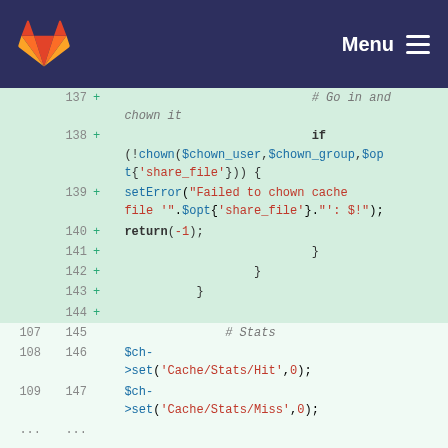GitLab — Menu
[Figure (screenshot): Code diff view showing PHP code additions (lines 137-147) with syntax highlighting. Added lines show chown error handling and stats initialization. GitLab dark blue header with logo and Menu button.]